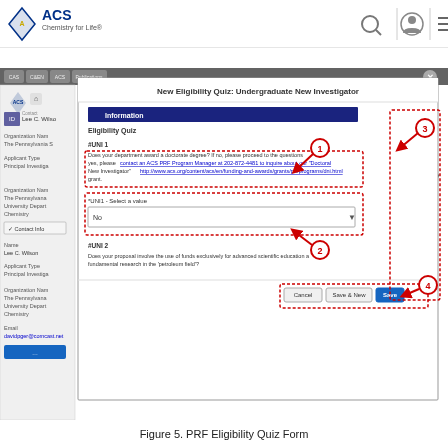[Figure (screenshot): Screenshot of ACS PRF Eligibility Quiz Form showing a modal dialog titled 'New Eligibility Quiz: Undergraduate New Investigator' with numbered annotations 1-4 pointing to different parts of the form. The form shows an Information section, Eligibility Quiz with UNI 1 and UNI 2 questions, a dropdown set to 'No', and Save/Cancel buttons. Red dashed boxes highlight key interactive elements.]
Figure 5. PRF Eligibility Quiz Form